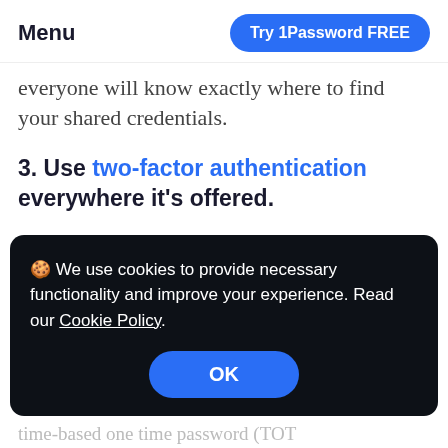Menu | Try 1Password FREE
everyone will know exactly where to find your shared credentials.
3. Use two-factor authentication everywhere it's offered.
Two-factor authentication (2FA) is an extra layer of security that protects
🍪 We use cookies to provide necessary functionality and improve your experience. Read our Cookie Policy.
OK
time-based one time password (TOT